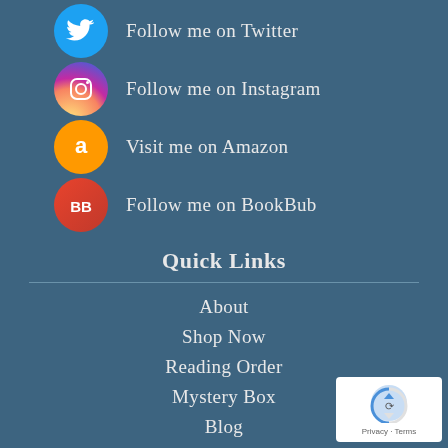Follow me on Twitter
Follow me on Instagram
Visit me on Amazon
Follow me on BookBub
Quick Links
About
Shop Now
Reading Order
Mystery Box
Blog